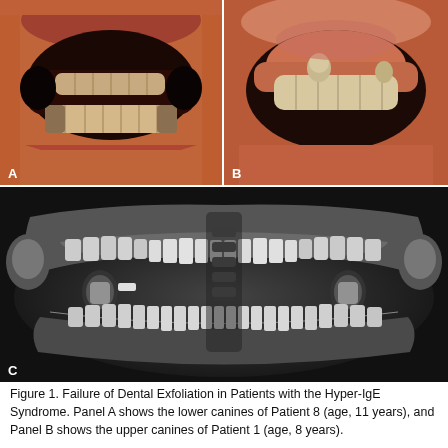[Figure (photo): Three-panel clinical figure. Panel A (top left): intraoral photograph showing lower teeth of a patient, with dark gum tissue and crowded/decayed dentition, lips visible. Panel B (top right): intraoral photograph showing upper teeth with retained primary teeth, crowded and irregular dentition. Panel C (bottom): panoramic dental radiograph (OPG) showing full dentition with multiple retained primary and unerupted permanent teeth.]
Figure 1. Failure of Dental Exfoliation in Patients with the Hyper-IgE Syndrome. Panel A shows the lower canines of Patient 8 (age, 11 years), and Panel B shows the upper canines of Patient 1 (age, 8 years).